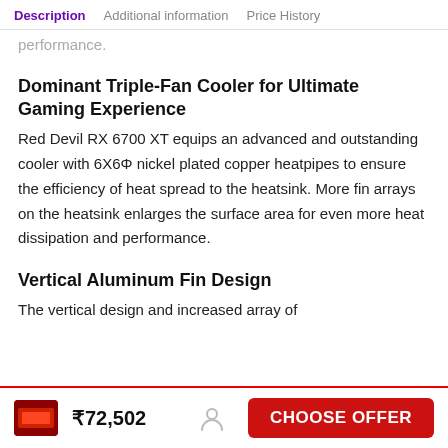Description | Additional information | Price History
performance.
Dominant Triple-Fan Cooler for Ultimate Gaming Experience
Red Devil RX 6700 XT equips an advanced and outstanding cooler with 6X6Φ nickel plated copper heatpipes to ensure the efficiency of heat spread to the heatsink. More fin arrays on the heatsink enlarges the surface area for even more heat dissipation and performance.
Vertical Aluminum Fin Design
The vertical design and increased array of
₹72,502   CHOOSE OFFER